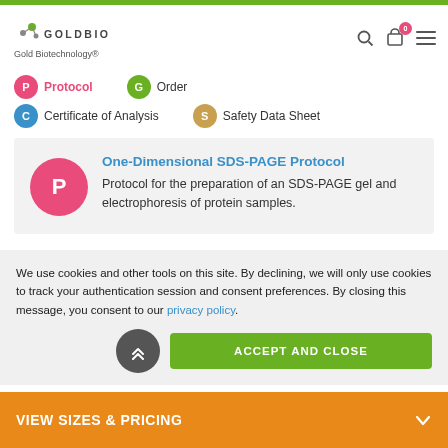GOLDBIO Gold Biotechnology®
P Protocol
G Order
C Certificate of Analysis
S Safety Data Sheet
One-Dimensional SDS-PAGE Protocol
Protocol for the preparation of an SDS-PAGE gel and electrophoresis of protein samples.
We use cookies and other tools on this site. By declining, we will only use cookies to track your authentication session and consent preferences. By closing this message, you consent to our privacy policy.
ACCEPT AND CLOSE
VIEW SIZES & PRICING